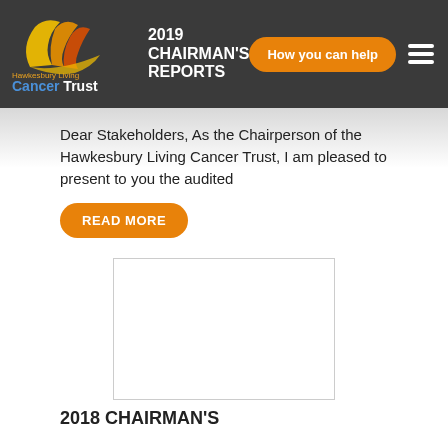[Figure (logo): Hawkesbury Living Cancer Trust logo — stylized bird/flame in yellow/orange with text 'Hawkesbury Living' and 'Cancer Trust']
2019 CHAIRMAN'S REPORTS
Dear Stakeholders, As the Chairperson of the Hawkesbury Living Cancer Trust, I am pleased to present to you the audited
READ MORE
[Figure (photo): Blank/white image placeholder with border]
2018 CHAIRMAN'S